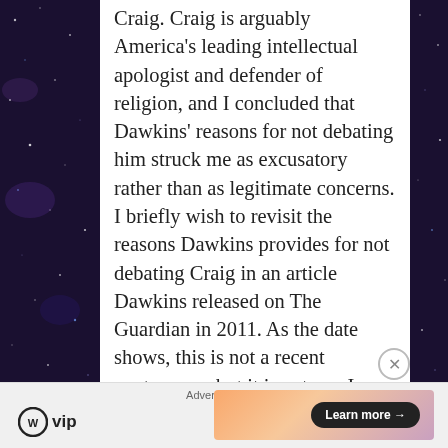Craig. Craig is arguably America's leading intellectual apologist and defender of religion, and I concluded that Dawkins' reasons for not debating him struck me as excusatory rather than as legitimate concerns. I briefly wish to revisit the reasons Dawkins provides for not debating Craig in an article Dawkins released on The Guardian in 2011. As the date shows, this is not a recent controversy but it is yet one I wish to comment on. I shall do so over the course of several posts. I should make known my own position. I simply favor formal debates and find it a necessary conduit for imparting knowledge to public consciousness, particularly on those who attend in the audience. I
[Figure (other): WordPress VIP logo and advertisement banner with 'Learn more' button, shown at the bottom of the page as an advertisement strip]